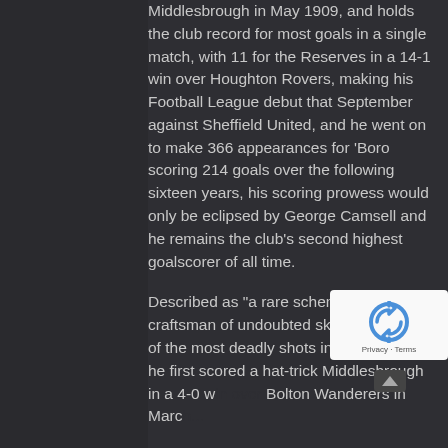Middlesbrough in May 1909, and holds the club record for most goals in a single match, with 11 for the Reserves in a 14-1 win over Houghton Rovers, making his Football League debut that September against Sheffield United, and he went on to make 366 appearances for ‘Boro scoring 214 goals over the following sixteen years, his scoring prowess would only be eclipsed by George Camsell and he remains the club’s second highest goalscorer of all time.
Described as “a rare schemer, a craftsman of undoubted skill, he has one of the most deadly shots in the country”, he first scored a hat-trick for Middlesbrough in a 4-0 w[in over] Bolton Wanderers in Marc[h...]. He